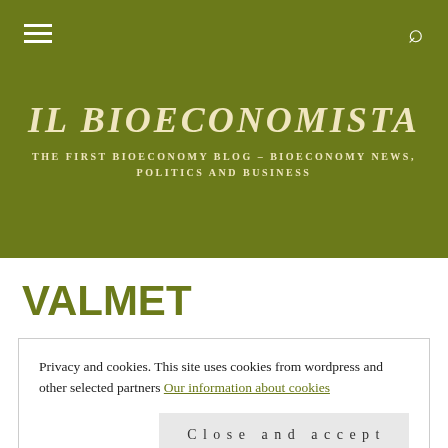IL BIOECONOMISTA – THE FIRST BIOECONOMY BLOG – BIOECONOMY NEWS, POLITICS AND BUSINESS
VALMET
Privacy and cookies. This site uses cookies from wordpress and other selected partners Our information about cookies
Close and accept